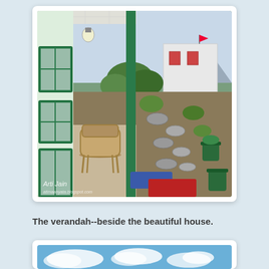[Figure (photo): A verandah of a house in a hill station. Green painted wooden pillars and window frames, a wicker chair on the covered porch, stone-paved garden path with plants and pots, another white building with mountains visible in the background. Watermark reads 'Arti Jain' with a blog URL. Blue and red doormats near the pillar.]
The verandah--beside the beautiful house.
[Figure (photo): A blue sky with white clouds, partial view (bottom of page, cropped).]